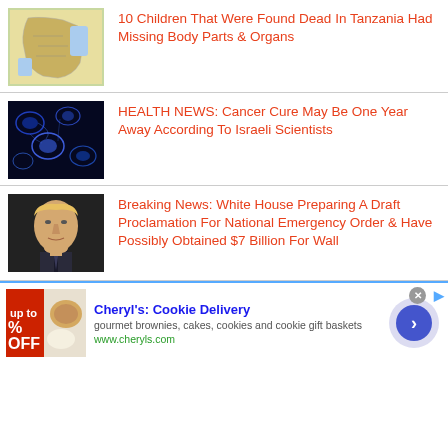[Figure (photo): Map of Tanzania]
10 Children That Were Found Dead In Tanzania Had Missing Body Parts & Organs
[Figure (photo): Microscopic image of cancer cells glowing blue]
HEALTH NEWS: Cancer Cure May Be One Year Away According To Israeli Scientists
[Figure (photo): Portrait photo of a man in a suit and tie]
Breaking News: White House Preparing A Draft Proclamation For National Emergency Order & Have Possibly Obtained $7 Billion For Wall
[Figure (photo): Advertisement thumbnail showing baked goods with percentage off text]
Cheryl's: Cookie Delivery
gourmet brownies, cakes, cookies and cookie gift baskets
www.cheryls.com